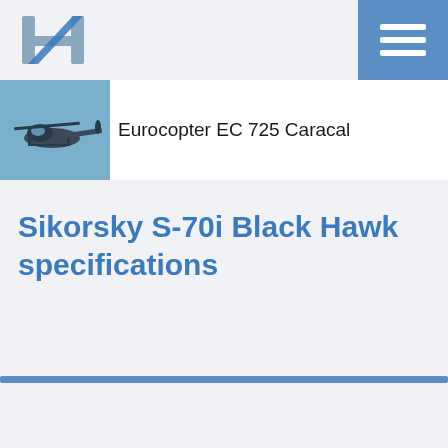[Figure (logo): Stylized blue/grey 'H' letter logo with diagonal stripe]
[Figure (other): Blue menu/hamburger icon button (three white horizontal lines on blue background)]
[Figure (photo): Thumbnail photo of a military helicopter (Eurocopter EC 725 Caracal) flying against a blue sky]
Eurocopter EC 725 Caracal
Sikorsky S-70i Black Hawk specifications